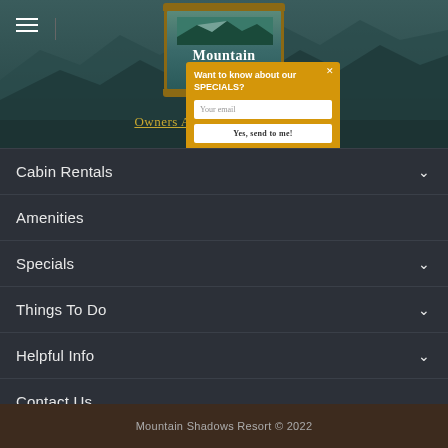[Figure (screenshot): Mountain Shadows Resort & Rentals website header with mountain landscape background, logo in decorative wooden frame, hamburger menu icon, Owners Area link partially visible, and a yellow popup asking 'Want to know about our SPECIALS?' with email input and 'Yes, send to me!' button]
Cabin Rentals
Amenities
Specials
Things To Do
Helpful Info
Contact Us
Mountain Shadows Resort © 2022